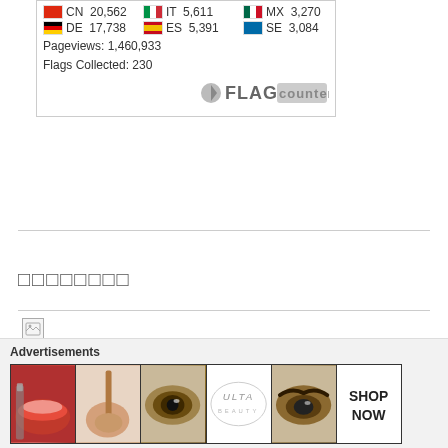[Figure (screenshot): Flag Counter widget showing country visitor statistics: CN 20,562 | IT 5,611 | MX 3,270 | DE 17,738 | ES 5,391 | SE 3,084 | Pageviews: 1,460,933 | Flags Collected: 230. FLAG counter logo at bottom right.]
□□□□□□□□
[Figure (other): Broken image placeholder with small document icon]
[Figure (other): Close/dismiss button circle with X]
Advertisements
[Figure (photo): ULTA beauty advertisement banner showing makeup imagery: lips with brush, eye makeup, ULTA logo, and SHOP NOW text]